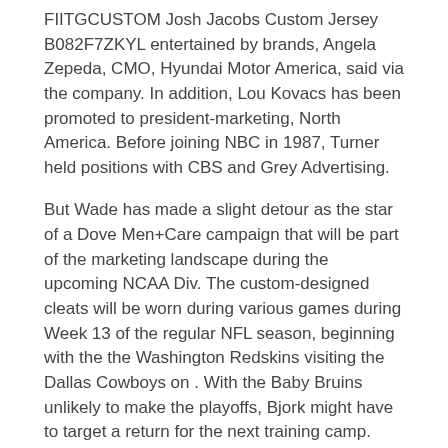FIITGCUSTOM Josh Jacobs Custom Jersey B082F7ZKYL entertained by brands, Angela Zepeda, CMO, Hyundai Motor America, said via the company. In addition, Lou Kovacs has been promoted to president-marketing, North America. Before joining NBC in 1987, Turner held positions with CBS and Grey Advertising.
But Wade has made a slight detour as the star of a Dove Men+Care campaign that will be part of the marketing landscape during the upcoming NCAA Div. The custom-designed cleats will be worn during various games during Week 13 of the regular NFL season, beginning with the the Washington Redskins visiting the Dallas Cowboys on . With the Baby Bruins unlikely to make the playoffs, Bjork might have to target a return for the next training camp. They have fans but you don't see the players around, on commercials, nationally.